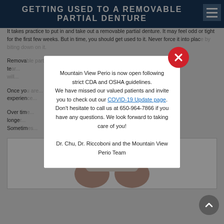GETTING USED TO A REMOVABLE PARTIAL DENTURE
It takes practice to put in and take out a removable partial denture. It may feel odd or tight for the first few weeks. But in time, you should get used to it. Never force it into plac...
Remova... may tell you to te... ake up. Usually y... ints or sore spo...
Once yo... nt experien... ng a removab...
Over tim... re may no longe... oosen. Sometim... epairs may tak...
[Figure (photo): Close-up photo of a removable partial denture being held by fingers, showing metal clasps and artificial teeth]
Mountain View Perio is now open following strict CDA and OSHA guidelines.
We have missed our valued patients and invite you to check out our COVID-19 Update page.
Don't hesitate to call us at 650-964-7866 if you have any questions. We look forward to taking care of you!

Dr. Chu, Dr. Riccoboni and the Mountain View Perio Team